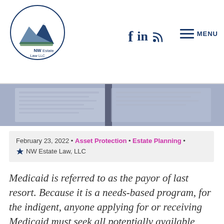NW Estate Law LLC — logo, social icons (f, in, RSS), MENU
[Figure (photo): Hero banner image showing open books/documents on a desk, with a bluish-purple tint overlay]
February 23, 2022 • Asset Protection • Estate Planning • NW Estate Law, LLC
Medicaid is referred to as the payor of last resort. Because it is a needs-based program, for the indigent, anyone applying for or receiving Medicaid must seek all potentially available assets that could be used to pay for care before the